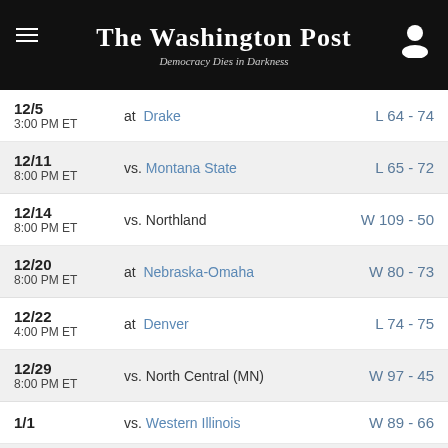The Washington Post — Democracy Dies in Darkness
| Date | Opponent | Result |
| --- | --- | --- |
| 12/5 3:00 PM ET | at Drake | L 64 - 74 |
| 12/11 8:00 PM ET | vs. Montana State | L 65 - 72 |
| 12/14 8:00 PM ET | vs. Northland | W 109 - 50 |
| 12/20 8:00 PM ET | at Nebraska-Omaha | W 80 - 73 |
| 12/22 4:00 PM ET | at Denver | L 74 - 75 |
| 12/29 8:00 PM ET | vs. North Central (MN) | W 97 - 45 |
| 1/1 | vs. Western Illinois | W 89 - 66 |